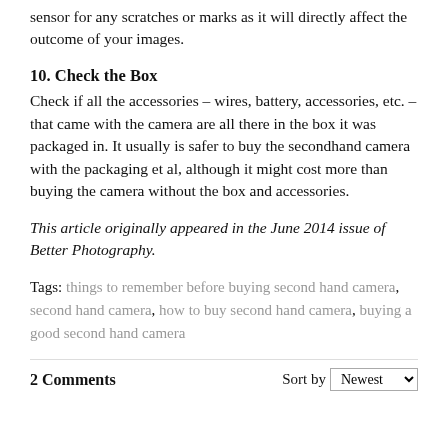sensor for any scratches or marks as it will directly affect the outcome of your images.
10. Check the Box
Check if all the accessories – wires, battery, accessories, etc. – that came with the camera are all there in the box it was packaged in. It usually is safer to buy the secondhand camera with the packaging et al, although it might cost more than buying the camera without the box and accessories.
This article originally appeared in the June 2014 issue of Better Photography.
Tags: things to remember before buying second hand camera, second hand camera, how to buy second hand camera, buying a good second hand camera
2 Comments   Sort by Newest